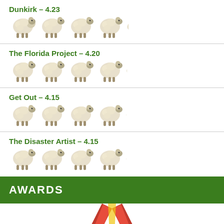Dunkirk – 4.23
The Florida Project – 4.20
Get Out – 4.15
The Disaster Artist – 4.15
AWARDS
[Figure (illustration): Gold award medal with red and yellow ribbon, partially visible at bottom of page]